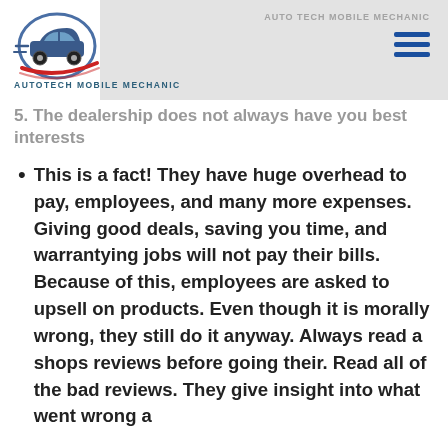[Figure (logo): Autotech Mobile Mechanic logo with car silhouette and red/blue swoosh]
AUTOTECH MOBILE MECHANIC
5. The dealership does not always have you best interests in mind.
This is a fact! They have huge overhead to pay, employees, and many more expenses. Giving good deals, saving you time, and warrantying jobs will not pay their bills. Because of this, employees are asked to upsell on products. Even though it is morally wrong, they still do it anyway. Always read a shops reviews before going their. Read all of the bad reviews. They give insight into what went wrong a